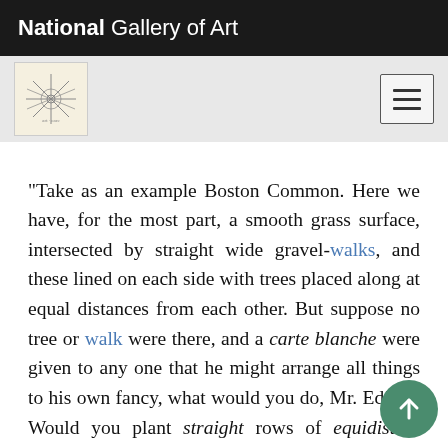National Gallery of Art
“Take as an example Boston Common. Here we have, for the most part, a smooth grass surface, intersected by straight wide gravel-walks, and these lined on each side with trees placed along at equal distances from each other. But suppose no tree or walk were there, and a carte blanche were given to any one that he might arrange all things to his own fancy, what would you do, Mr. Editor? Would you plant straight rows of equidistant trees there? Probably not. For, although such an arrangement of fruit or shade trees may be in its place very convenient and useful, it can never please the eye